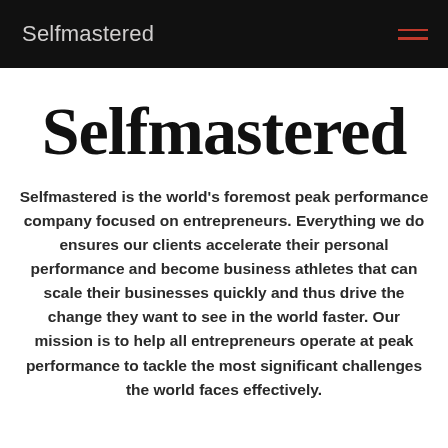Selfmastered
Selfmastered
Selfmastered is the world's foremost peak performance company focused on entrepreneurs. Everything we do ensures our clients accelerate their personal performance and become business athletes that can scale their businesses quickly and thus drive the change they want to see in the world faster. Our mission is to help all entrepreneurs operate at peak performance to tackle the most significant challenges the world faces effectively.